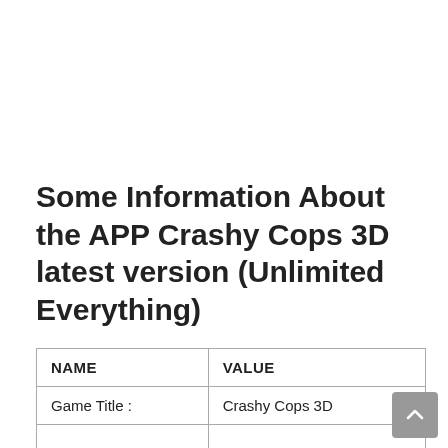Some Information About the APP Crashy Cops 3D latest version (Unlimited Everything)
| NAME | VALUE |
| --- | --- |
| Game Title : | Crashy Cops 3D |